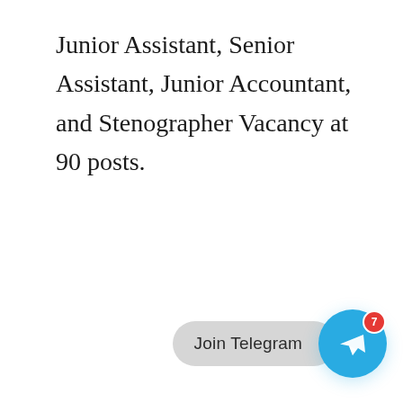Junior Assistant, Senior Assistant, Junior Accountant, and Stenographer Vacancy at 90 posts.
[Figure (other): Join Telegram button with Telegram app icon (blue circle with paper plane) and a red badge showing notification count 7]